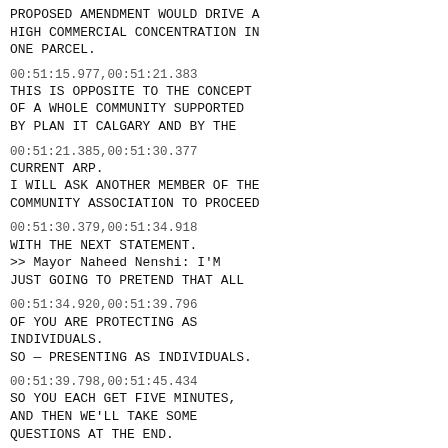PROPOSED AMENDMENT WOULD DRIVE A HIGH COMMERCIAL CONCENTRATION IN ONE PARCEL.
00:51:15.977,00:51:21.383
THIS IS OPPOSITE TO THE CONCEPT OF A WHOLE COMMUNITY SUPPORTED BY PLAN IT CALGARY AND BY THE
00:51:21.385,00:51:30.377
CURRENT ARP.
I WILL ASK ANOTHER MEMBER OF THE COMMUNITY ASSOCIATION TO PROCEED
00:51:30.379,00:51:34.918
WITH THE NEXT STATEMENT.
>> Mayor Naheed Nenshi: I'M JUST GOING TO PRETEND THAT ALL
00:51:34.920,00:51:39.796
OF YOU ARE PROTECTING AS INDIVIDUALS.
SO — PRESENTING AS INDIVIDUALS.
00:51:39.798,00:51:45.434
SO YOU EACH GET FIVE MINUTES,
AND THEN WE'LL TAKE SOME QUESTIONS AT THE END.